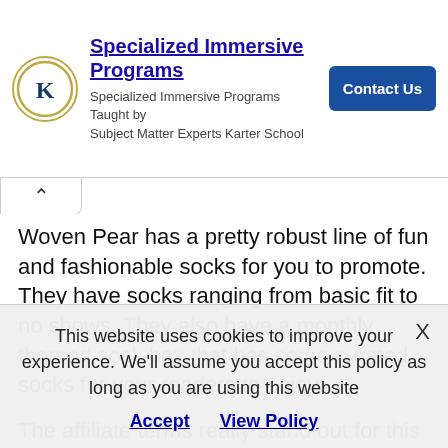[Figure (infographic): Advertisement banner for Karter School Specialized Immersive Programs with logo, text, and Contact Us button]
Woven Pear has a pretty robust line of fun and fashionable socks for you to promote. They have socks ranging from basic fit to no shows. They also have a monthly themed sock box that has some curated socks for your readers to enjoy.
The affiliate terms really stand out for this affiliate partner. Let's start with the 90-day
This website uses cookies to improve your experience. We'll assume you accept this policy as long as you are using this website
Accept   View Policy